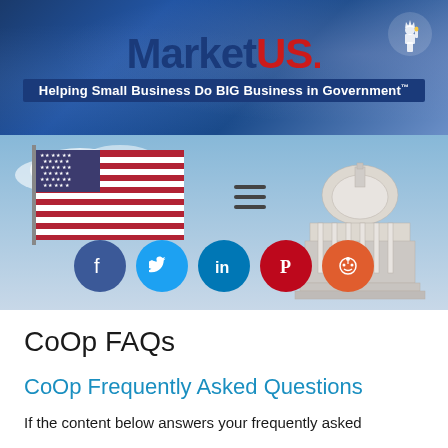[Figure (logo): MarketUS banner with logo, tagline 'Helping Small Business Do BIG Business in Government', and Statue of Liberty icon]
[Figure (photo): Hero image with US flag, US Capitol building, hamburger menu icon, and social media share buttons for Facebook, Twitter, LinkedIn, Pinterest, and Reddit]
CoOp FAQs
CoOp Frequently Asked Questions
If the content below answers your frequently asked